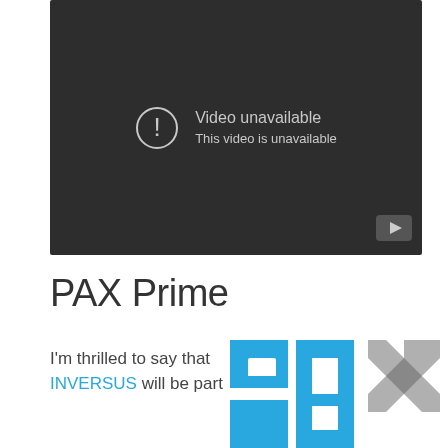[Figure (screenshot): Embedded video player showing 'Video unavailable / This video is unavailable' message on dark background with YouTube button in bottom-right corner]
PAX Prime
I'm thrilled to say that INVERSUS will be part
[Figure (logo): PAX logo in blue and grey]